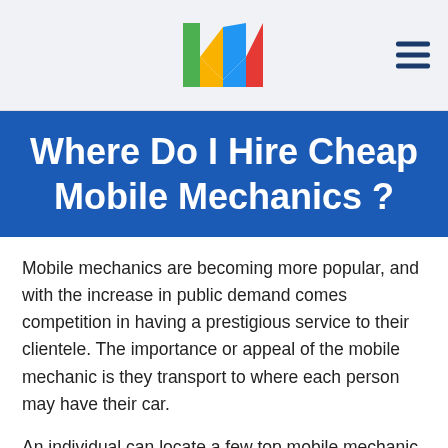[Figure (logo): Colorful M-shaped logo with green, blue, yellow, and red segments]
Where Do I Hire Cheap Mobile Mechanics ?
Mobile mechanics are becoming more popular, and with the increase in public demand comes competition in having a prestigious service to their clientele. The importance or appeal of the mobile mechanic is they transport to where each person may have their car.
An individual can locate a few top mobile mechanic hubs on the web. These include MobileMechanic .com, Yourmechanic, MechanicAdvisor, and Craigslist.
MobileMechanic .com began operation by founder, Jordan